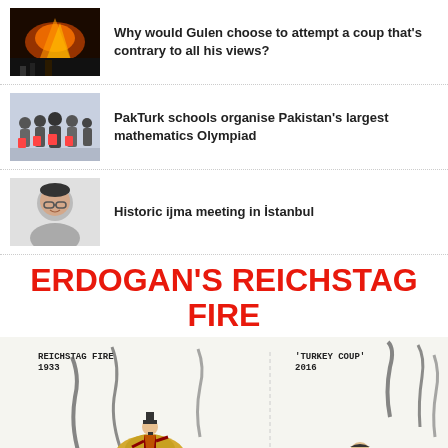[Figure (photo): Thumbnail of crowd/fire scene for Gulen coup article]
Why would Gulen choose to attempt a coup that's contrary to all his views?
[Figure (photo): Thumbnail of group photo for PakTurk schools article]
PakTurk schools organise Pakistan's largest mathematics Olympiad
[Figure (photo): Thumbnail of man's portrait for ijma meeting article]
Historic ijma meeting in İstanbul
ERDOGAN'S REICHSTAG FIRE
[Figure (illustration): Political cartoon comparing Reichstag Fire 1933 with Turkey Coup 2016. Left side shows Hitler figure atop burning Reichstag building with label 'Reichstag Fire 1933'. Right side shows Erdogan figure on a tank with label 'Turkey Coup 2016'.]